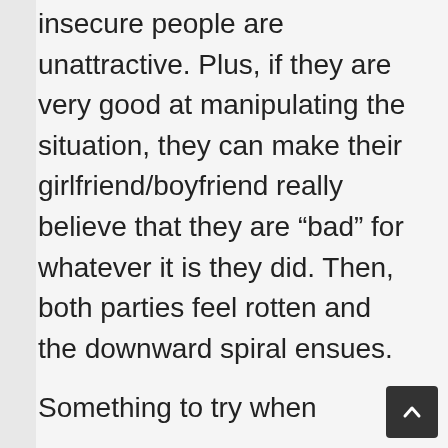insecure people are unattractive. Plus, if they are very good at manipulating the situation, they can make their girlfriend/boyfriend really believe that they are “bad” for whatever it is they did. Then, both parties feel rotten and the downward spiral ensues.
Something to try when